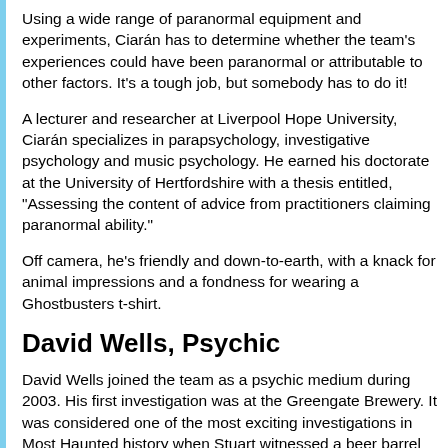Using a wide range of paranormal equipment and experiments, Ciarán has to determine whether the team's experiences could have been paranormal or attributable to other factors. It's a tough job, but somebody has to do it!
A lecturer and researcher at Liverpool Hope University, Ciarán specializes in parapsychology, investigative psychology and music psychology. He earned his doctorate at the University of Hertfordshire with a thesis entitled, "Assessing the content of advice from practitioners claiming paranormal ability."
Off camera, he's friendly and down-to-earth, with a knack for animal impressions and a fondness for wearing a Ghostbusters t-shirt.
David Wells, Psychic
David Wells joined the team as a psychic medium during 2003. His first investigation was at the Greengate Brewery. It was considered one of the most exciting investigations in Most Haunted history when Stuart witnessed a beer barrel rolling towards him of its own!
A catering manager and former member of the Royal Navy,